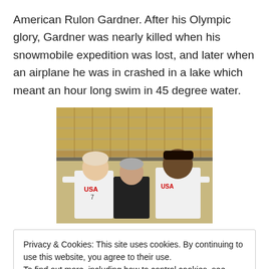American Rulon Gardner. After his Olympic glory, Gardner was nearly killed when his snowmobile expedition was lost, and later when an airplane he was in crashed in a lake which meant an hour long swim in 45 degree water.
[Figure (photo): Three people posing together in a gymnasium/arena with yellow stadium seats in the background. The person on the left wears a white USA basketball jersey with number 7, the person in the middle wears a dark shirt, and the person on the right wears a white USA jersey.]
Privacy & Cookies: This site uses cookies. By continuing to use this website, you agree to their use.
To find out more, including how to control cookies, see here: Cookie Policy
the host and leveling the playing field.